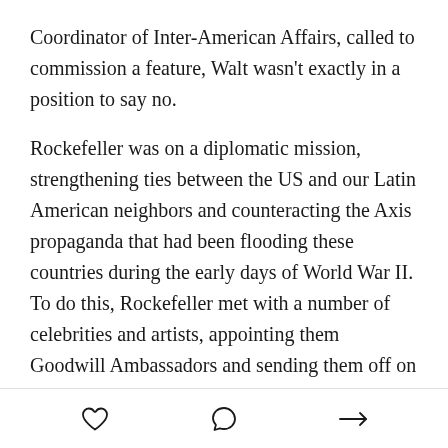Coordinator of Inter-American Affairs, called to commission a feature, Walt wasn't exactly in a position to say no.
Rockefeller was on a diplomatic mission, strengthening ties between the US and our Latin American neighbors and counteracting the Axis propaganda that had been flooding these countries during the early days of World War II. To do this, Rockefeller met with a number of celebrities and artists, appointing them Goodwill Ambassadors and sending them off on cultural tours of Latin America. Bing Crosby and the Andrews Sisters went on tour and recorded Latin music with Xavier Cugat. Orson Welles hosted the radio show Hello Americans and started work on the film It's All True.
[heart icon] [comment icon] [share icon]